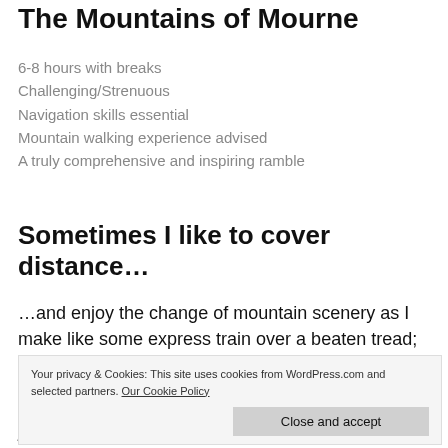The Mountains of Mourne
6-8 hours with breaks
Challenging/Strenuous
Navigation skills essential
Mountain walking experience advised
A truly comprehensive and inspiring ramble
Sometimes I like to cover distance…
…and enjoy the change of mountain scenery as I make like some express train over a beaten tread; it's the
Your privacy & Cookies: This site uses cookies from WordPress.com and selected partners. Our Cookie Policy
place" that I find so fulfilling.